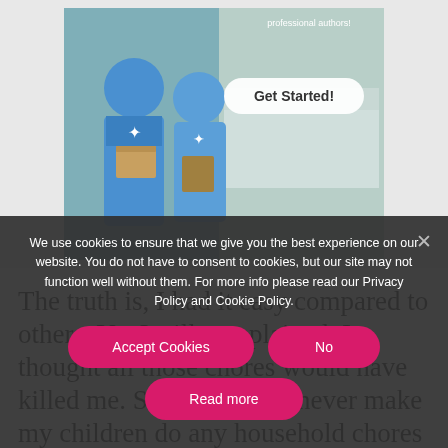[Figure (screenshot): Advertisement banner showing people in blue uniforms holding boxes, with a kitchen background and a 'Get Started!' button, promoting professional authors/writers service]
The truth is, I had it easy compared to others. Yet I still complained. I thought all those chores would have killed me. So, I vowed to never make my children do any household chores but almost parent.
[Figure (screenshot): Cookie consent overlay with dark semi-transparent background. Text reads: 'We use cookies to ensure that we give you the best experience on our website. You do not have to consent to cookies, but our site may not function well without them. For more info please read our Privacy Policy and Cookie Policy.' Three buttons: 'Accept Cookies', 'No', and 'Read more'. Close (X) button in top right.]